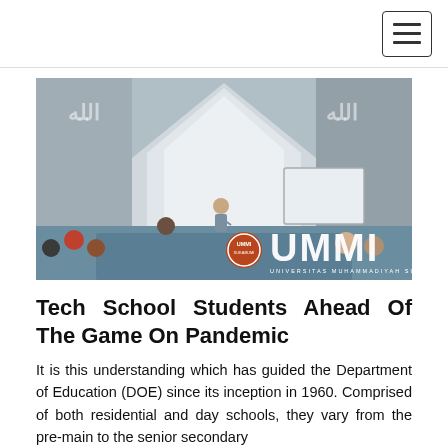[Navigation bar with hamburger menu]
[Figure (photo): Interior of a mosque-style hall with arched white walls and Arabic calligraphy. A person stands at the front presenting, with a whiteboard/screen to the right. Audience members sit on the floor. UMMI (Universitas Muhammadiyah Sukabumi) logo and name overlaid at the bottom right.]
Tech School Students Ahead Of The Game On Pandemic
It is this understanding which has guided the Department of Education (DOE) since its inception in 1960. Comprised of both residential and day schools, they vary from the pre-main to the senior secondary